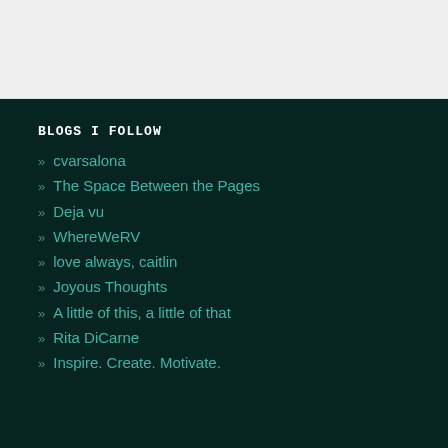BLOGS I FOLLOW
cvarsalona
The Space Between the Pages
Deja vu
WhereWeRV
love always, caitlin
Joyous Thoughts
A little of this, a little of that
Rita DiCarne
Inspire. Create. Motivate.